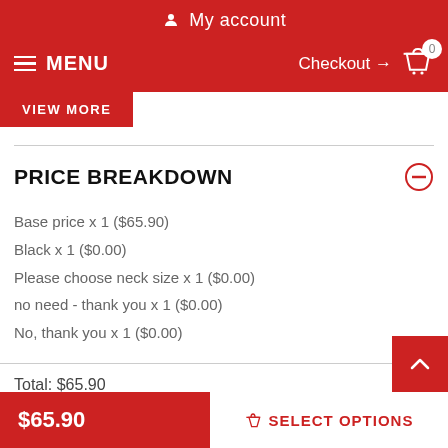My account
MENU   Checkout → 0
VIEW MORE
PRICE BREAKDOWN
Base price x 1 ($65.90)
Black x 1 ($0.00)
Please choose neck size x 1 ($0.00)
no need - thank you x 1 ($0.00)
No, thank you x 1 ($0.00)
Total: $65.90
$65.90   SELECT OPTIONS